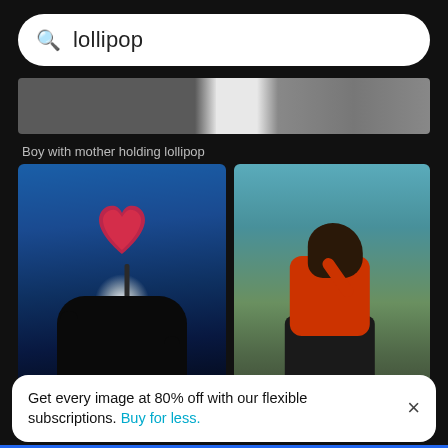lollipop
[Figure (photo): Partial black and white photo strip showing a figure with a mother, top portion cropped]
Boy with mother holding lollipop
[Figure (photo): Photo of hand holding a heart-shaped red lollipop against a bright blue sky with sun glare, hand in silhouette]
[Figure (photo): Low angle portrait of woman in orange shirt and black skirt with sunglasses, eating a lollipop against teal sky]
Cropped image of hand holding lollip...
Low angle portrait of wom...
Get every image at 80% off with our flexible subscriptions. Buy for less.